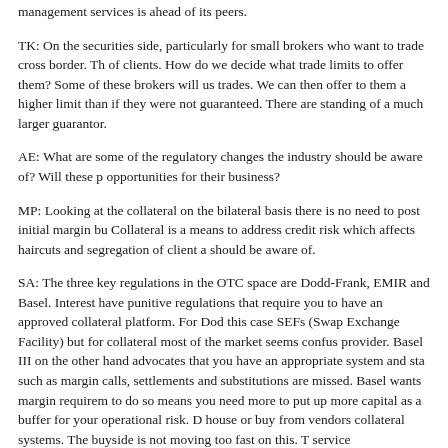management services is ahead of its peers.
TK: On the securities side, particularly for small brokers who want to trade cross border. There are a lot of clients. How do we decide what trade limits to offer them? Some of these brokers will use guarantees on trades. We can then offer to them a higher limit than if they were not guaranteed. There are standing of a much larger guarantor.
AE: What are some of the regulatory changes the industry should be aware of? Will these p opportunities for their business?
MP: Looking at the collateral on the bilateral basis there is no need to post initial margin bu Collateral is a means to address credit risk which affects haircuts and segregation of client a should be aware of.
SA: The three key regulations in the OTC space are Dodd-Frank, EMIR and Basel. Interest have punitive regulations that require you to have an approved collateral platform. For Dod this case SEFs (Swap Exchange Facility) but for collateral most of the market seems confus provider. Basel III on the other hand advocates that you have an appropriate system and sta such as margin calls, settlements and substitutions are missed. Basel wants margin requirem to do so means you need more to put up more capital as a buffer for your operational risk. D house or buy from vendors collateral systems. The buyside is not moving too fast on this. T service
around margining.
CR: When I think about brokers what springs to mind is the curbing of contra trading on the example, the rule to have 5% collateral on all unsettled trades. That is going to require reor